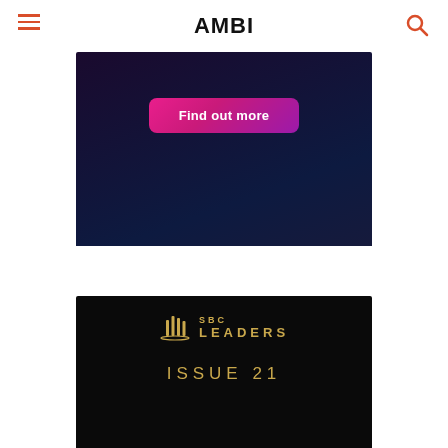AMBI
[Figure (illustration): Dark gradient banner with a 'Find out more' button in pink-to-purple gradient]
[Figure (illustration): SBC Leaders magazine cover showing 'SBC LEADERS' logo with gold columns icon and 'ISSUE 21' text on black background]